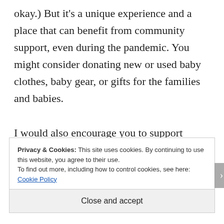okay.) But it's a unique experience and a place that can benefit from community support, even during the pandemic. You might consider donating new or used baby clothes, baby gear, or gifts for the families and babies.

I would also encourage you to support Ronald McDonald Charities. They were our home away from home and were
Privacy & Cookies: This site uses cookies. By continuing to use this website, you agree to their use.
To find out more, including how to control cookies, see here: Cookie Policy
Close and accept